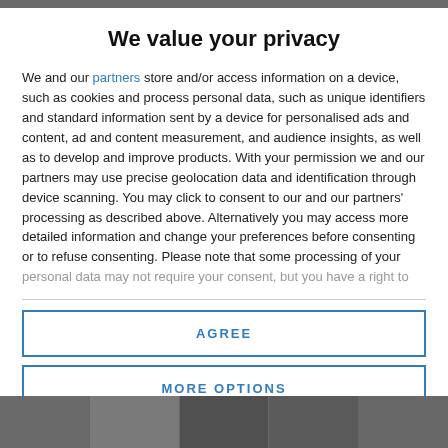We value your privacy
We and our partners store and/or access information on a device, such as cookies and process personal data, such as unique identifiers and standard information sent by a device for personalised ads and content, ad and content measurement, and audience insights, as well as to develop and improve products. With your permission we and our partners may use precise geolocation data and identification through device scanning. You may click to consent to our and our partners' processing as described above. Alternatively you may access more detailed information and change your preferences before consenting or to refuse consenting. Please note that some processing of your personal data may not require your consent, but you have a right to
AGREE
MORE OPTIONS
[Figure (photo): Photo strip at the bottom of the page showing people or scenery]